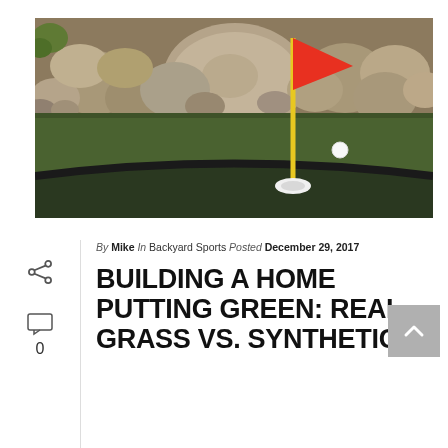[Figure (photo): A backyard putting green with artificial turf, a yellow flag pole with red flag in a hole, a golf ball nearby, and a stone wall with large boulders in the background.]
By Mike In Backyard Sports Posted December 29, 2017
BUILDING A HOME PUTTING GREEN: REAL GRASS VS. SYNTHETIC